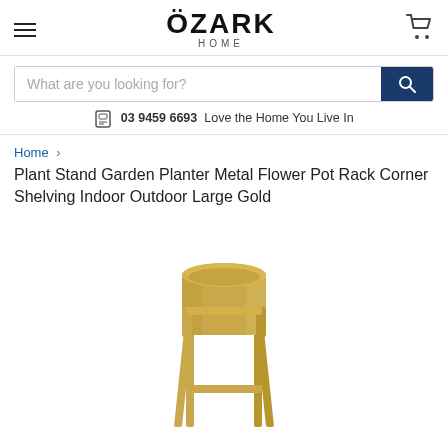ÖZARK HOME
What are you looking for?
03 9459 6693  Love the Home You Live In
Home > Plant Stand Garden Planter Metal Flower Pot Rack Corner Shelving Indoor Outdoor Large Gold
Plant Stand Garden Planter Metal Flower Pot Rack Corner Shelving Indoor Outdoor Large Gold
[Figure (photo): A gold metal plant stand with a cylindrical pot holder on a four-legged frame, shown on white background.]